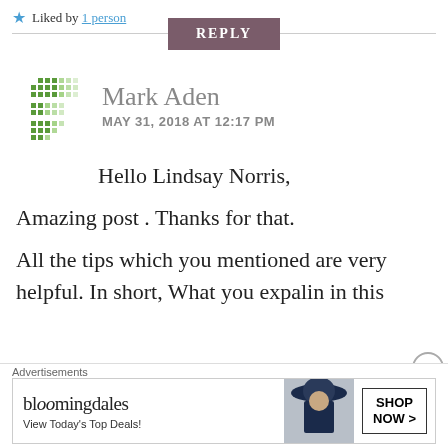★ Liked by 1 person
REPLY
Mark Aden
MAY 31, 2018 AT 12:17 PM
Hello Lindsay Norris,
Amazing post . Thanks for that.
All the tips which you mentioned are very helpful. In short, What you expalin in this
[Figure (other): Bloomingdales advertisement banner: logo text 'bloomingdales', tagline 'View Today's Top Deals!', model photo, and 'SHOP NOW >' button]